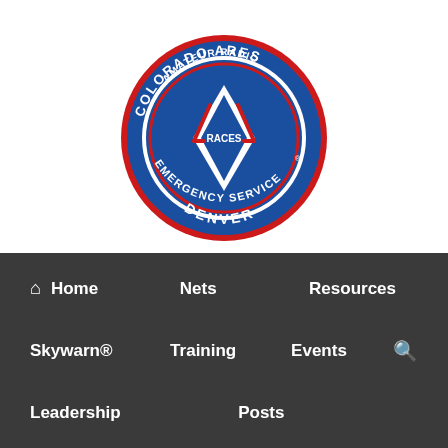[Figure (logo): Colorado ARES Amateur Radio Emergency Service Denver circular badge logo with blue background, red border, and diamond antenna symbol in center]
Communications support for Public Service agencies in Denver, Colorado
Home
Nets
Resources
Skywarn®
Training
Events
Leadership
Posts